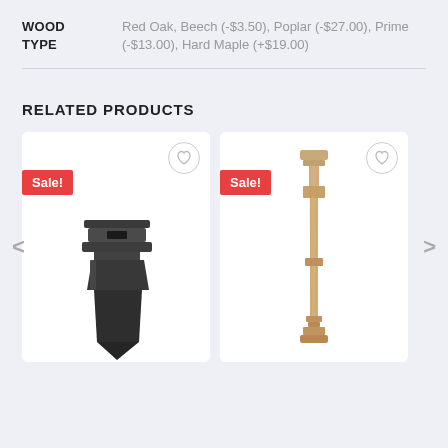WOOD TYPE: Red Oak, Beech (-$3.50), Poplar (-$27.00), Prime (-$13.00), Hard Maple (+$19.00)
RELATED PRODUCTS
[Figure (photo): Product card with Sale! badge showing a dark/black metal square post cap hardware item, with heart/wishlist icon button]
[Figure (photo): Product card with Sale! badge showing a wooden stair baluster/spindle in natural wood color, with heart/wishlist icon button]